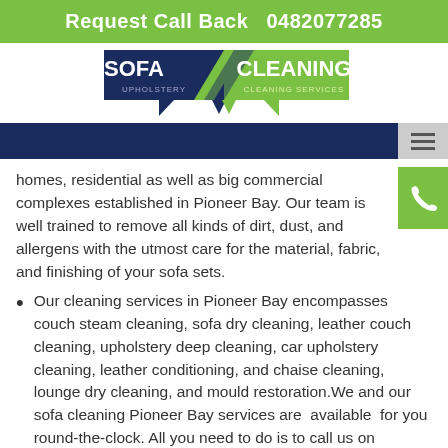Request Call Back   0482077285
[Figure (logo): Sofa Cleaning Upholstery Cleaning Services logo — two green and navy speech-bubble shapes with text SOFA / CLEANING, UPHOLSTERY / CLEANING SERVICES]
homes, residential as well as big commercial complexes established in Pioneer Bay. Our team is well trained to remove all kinds of dirt, dust, and allergens with the utmost care for the material, fabric, and finishing of your sofa sets.
Our cleaning services in Pioneer Bay encompasses couch steam cleaning, sofa dry cleaning, leather couch cleaning, upholstery deep cleaning, car upholstery cleaning, leather conditioning, and chaise cleaning, lounge dry cleaning, and mould restoration.We and our sofa cleaning Pioneer Bay services are  available  for you round-the-clock. All you need to do is to call us on 0482077285 to get a customized quote and we will reach your homes